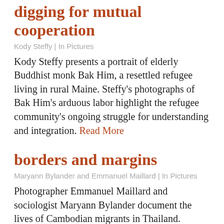digging for mutual cooperation
Kody Steffy | In Pictures
Kody Steffy presents a portrait of elderly Buddhist monk Bak Him, a resettled refugee living in rural Maine. Steffy’s photographs of Bak Him’s arduous labor highlight the refugee community’s ongoing struggle for understanding and integration. Read More
borders and margins
Maryann Bylander and Emmanuel Maillard | In Pictures
Photographer Emmanuel Maillard and sociologist Maryann Bylander document the lives of Cambodian migrants in Thailand. Through photographs taken for their Borders & Margins project at border crossings, work sites, and living spaces, they highlight the ambivalence many migrants express about their Read More